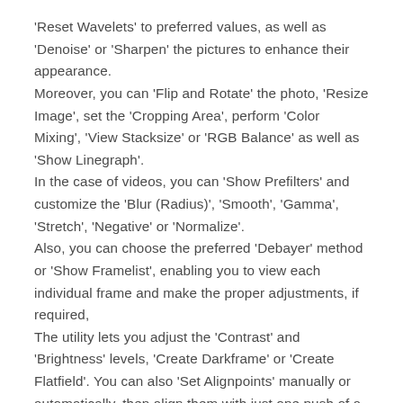'Reset Wavelets' to preferred values, as well as 'Denoise' or 'Sharpen' the pictures to enhance their appearance. Moreover, you can 'Flip and Rotate' the photo, 'Resize Image', set the 'Cropping Area', perform 'Color Mixing', 'View Stacksize' or 'RGB Balance' as well as 'Show Linegraph'. In the case of videos, you can 'Show Prefilters' and customize the 'Blur (Radius)', 'Smooth', 'Gamma', 'Stretch', 'Negative' or 'Normalize'. Also, you can choose the preferred 'Debayer' method or 'Show Framelist', enabling you to view each individual frame and make the proper adjustments, if required, The utility lets you adjust the 'Contrast' and 'Brightness' levels, 'Create Darkframe' or 'Create Flatfield'. You can also 'Set Alignpoints' manually or automatically, then align them with just one push of a button. RegiStax